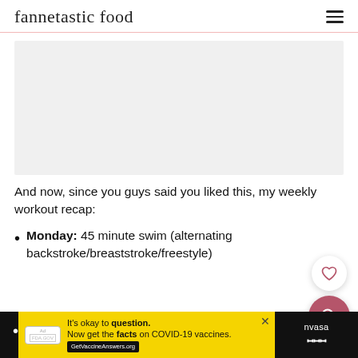fannetastic food
[Figure (photo): Light gray image placeholder rectangle]
And now, since you guys said you liked this, my weekly workout recap:
Monday: 45 minute swim (alternating backstroke/breaststroke/freestyle)
[Figure (infographic): Yellow advertisement banner: 'It's okay to question. Now get the facts on COVID-19 vaccines. GetVaccineAnswers.org' with a close button. Next to it on a black background is partial text.]